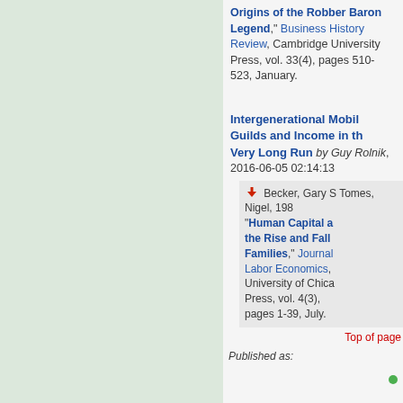Origins of the Robber Baron Legend," Business History Review, Cambridge University Press, vol. 33(4), pages 510-523, January.
Intergenerational Mobility, Guilds and Income in the Very Long Run by Guy Rolnik, 2016-06-05 02:14:13
Becker, Gary S Tomes, Nigel, 1986. "Human Capital and the Rise and Fall of Families," Journal of Labor Economics, University of Chicago Press, vol. 4(3), pages 1-39, July.
Top of page
Published as: